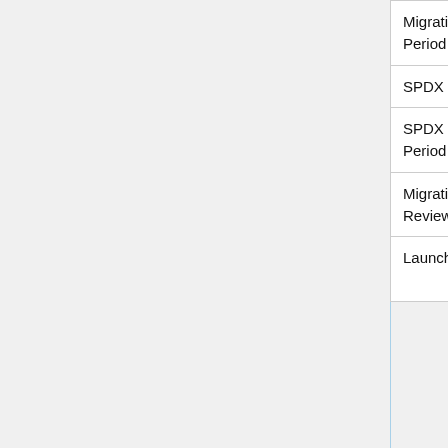|  |  |
| --- | --- |
| Migration Plan Draft Review Period | Tech Team | How to go from v1 documents to 2.x... |
| SPDX 2.0 Draft Review Period | Tech Team | Specification is d... by the general c... |
| SPDX 2.0 Best and Final Review Period | Tech Team | Best and final ve... specification is d... blessing. |
| Migration Plan Best and Final Review Period | Tech Team | How to go from v1 documents to 2.x... |
| Launch Plan | Business Team | Launch Plan dev... place for 2.0 rele... want to submit p... LinuxCons or do... |